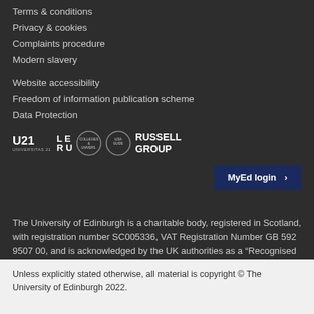Terms & conditions
Privacy & cookies
Complaints procedure
Modern slavery
Website accessibility
Freedom of information publication scheme
Data Protection
[Figure (logo): Logos: U21 Universitas 21, LE RU, Colleges & Universities logo, USA Guide logo, Russell Group]
MyEd login ›
The University of Edinburgh is a charitable body, registered in Scotland, with registration number SC005336, VAT Registration Number GB 592 9507 00, and is acknowledged by the UK authorities as a "Recognised body" which has been granted degree awarding powers.
Unless explicitly stated otherwise, all material is copyright © The University of Edinburgh 2022.